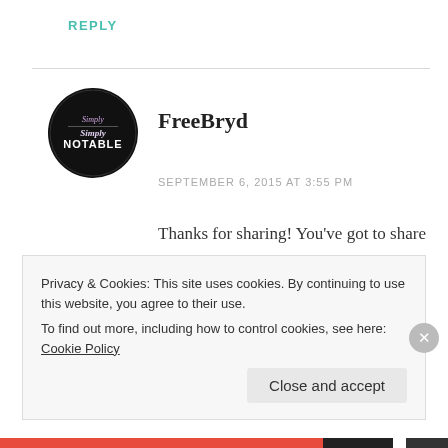REPLY
[Figure (logo): Round black logo badge reading 'Simply Notable' with decorative text]
FreeBryd
SEPTEMBER 6, 2015 AT 3:55 PM
Thanks for sharing! You've got to share your secret to no hangovers! I'm in awe lol. Love your idea for book reviews. I'm interested in sharing my perspectives as well, on the current book I'm reading: The
Privacy & Cookies: This site uses cookies. By continuing to use this website, you agree to their use.
To find out more, including how to control cookies, see here: Cookie Policy
Close and accept